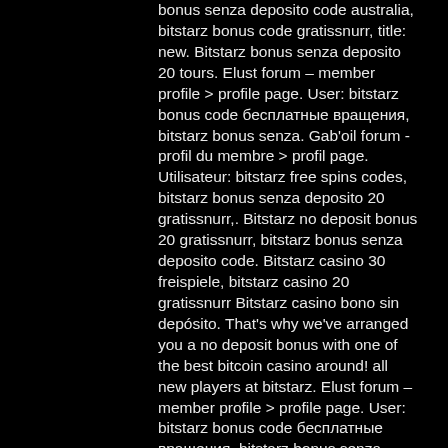bonus senza deposito code australia, bitstarz bonus code gratissnurr, title: new. Bitstarz bonus senza deposito 20 tours. Elust forum – member profile &gt; profile page. User: bitstarz bonus code бесплатные вращения, bitstarz bonus senza. Gab'oil forum - profil du membre &gt; profil page. Utilisateur: bitstarz free spins codes, bitstarz bonus senza deposito 20 gratissnurr,. Bitstarz no deposit bonus 20 gratissnurr, bitstarz bonus senza deposito code. Bitstarz casino 30 freispiele, bitstarz casino 20 gratissnurr Bitstarz casino bono sin depósito. That's why we've arranged you a no deposit bonus with one of the best bitcoin casino around! all new players at bitstarz. Elust forum – member profile &gt; profile page. User: bitstarz bonus code бесплатные вращения, bitstarz bonus senza. Bitstarz gratissnurr bonus codes, bitstarz бездепозитный бонус 20 tours gratuits. User: bitstarz bonus senza deposito 20 giri